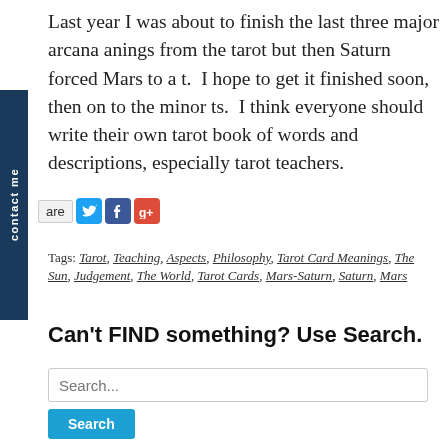Last year I was about to finish the last three major arcana meanings from the tarot but then Saturn forced Mars to a halt. I hope to get it finished soon, then on to the minor arcana. I think everyone should write their own tarot book of keywords and descriptions, especially tarot teachers.
[Figure (other): Share bar with Twitter, Facebook, and Google Plus icons]
Tags: Tarot, Teaching, Aspects, Philosophy, Tarot Card Meanings, The Sun, Judgement, The World, Tarot Cards, Mars-Saturn, Saturn, Mars
Can't FIND something? Use Search.
Search...